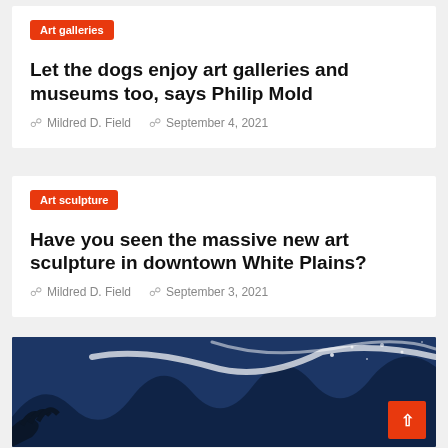Art galleries
Let the dogs enjoy art galleries and museums too, says Philip Mold
Mildred D. Field   September 4, 2021
Art sculpture
Have you seen the massive new art sculpture in downtown White Plains?
Mildred D. Field   September 3, 2021
[Figure (photo): Paint splash art close-up with blue background and white paint strokes]